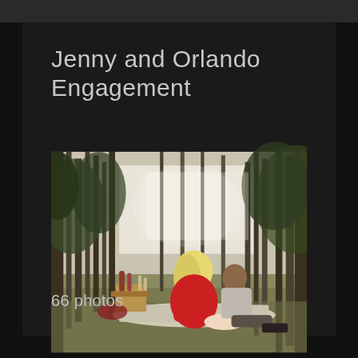Jenny and Orlando Engagement
[Figure (photo): Engagement photo of a couple sitting on a picnic blanket in a forest clearing near a lake. A woman in a red dress with blonde hair faces a man in a grey shirt. A picnic basket and table are visible to their left. Tall pine trees line the background with light filtering through.]
66 photos